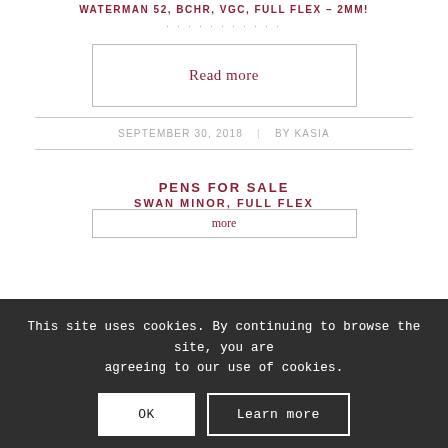WATERMAN 52, BCHR, VGC, FULL FLEX – 2MM!
· · · · · · · · · · ·
Read more
SEPTEMBER 30, 2018 | BY KASIA
PENS FOR SALE
SWAN MINOR, FULL FLEX
This site uses cookies. By continuing to browse the site, you are agreeing to our use of cookies.
OK
Learn more